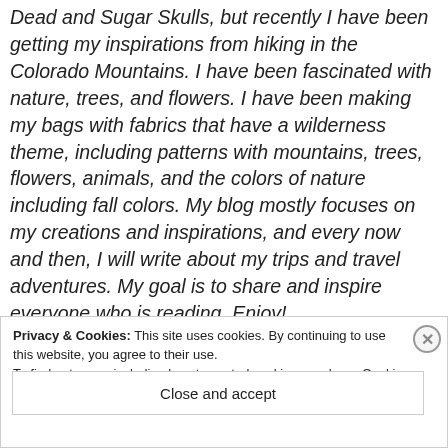Dead and Sugar Skulls, but recently I have been getting my inspirations from hiking in the Colorado Mountains. I have been fascinated with nature, trees, and flowers. I have been making my bags with fabrics that have a wilderness theme, including patterns with mountains, trees, flowers, animals, and the colors of nature including fall colors. My blog mostly focuses on my creations and inspirations, and every now and then, I will write about my trips and travel adventures. My goal is to share and inspire everyone who is reading. Enjoy!
Privacy & Cookies: This site uses cookies. By continuing to use this website, you agree to their use. To find out more, including how to control cookies, see here: Cookie Policy
Close and accept